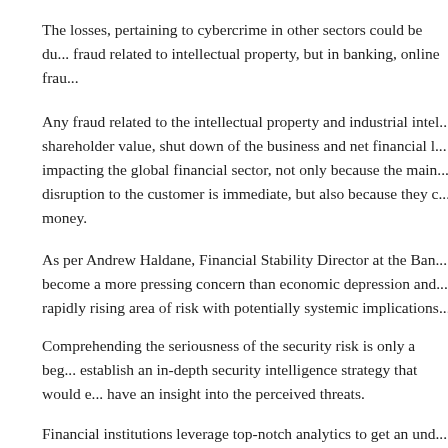The losses, pertaining to cybercrime in other sectors could be due to fraud related to intellectual property, but in banking, online frau...
Any fraud related to the intellectual property and industrial intel... shareholder value, shut down of the business and net financial l... impacting the global financial sector, not only because the main... disruption to the customer is immediate, but also because they c... money.
As per Andrew Haldane, Financial Stability Director at the Ban... become a more pressing concern than economic depression and... rapidly rising area of risk with potentially systemic implications...
Comprehending the seriousness of the security risk is only a beg... establish an in-depth security intelligence strategy that would e... have an insight into the perceived threats.
Financial institutions leverage top-notch analytics to get an und...